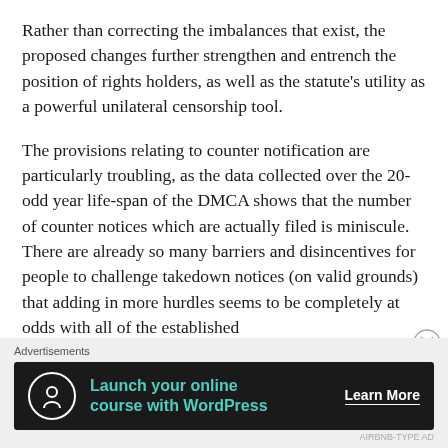Rather than correcting the imbalances that exist, the proposed changes further strengthen and entrench the position of rights holders, as well as the statute's utility as a powerful unilateral censorship tool.
The provisions relating to counter notification are particularly troubling, as the data collected over the 20-odd year life-span of the DMCA shows that the number of counter notices which are actually filed is miniscule. There are already so many barriers and disincentives for people to challenge takedown notices (on valid grounds) that adding in more hurdles seems to be completely at odds with all of the established
Advertisements
[Figure (infographic): Advertisement banner with dark background showing 'Launch your online course with WordPress' with a tree/person icon and 'Learn More' call to action button]